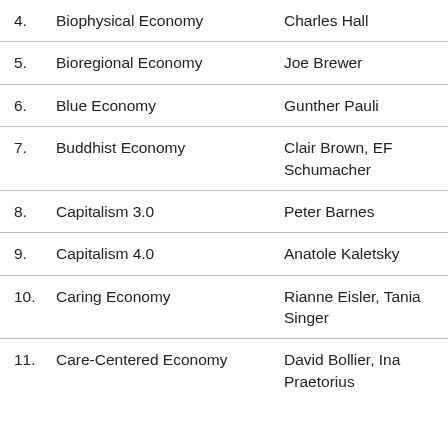4. Biophysical Economy — Charles Hall
5. Bioregional Economy — Joe Brewer
6. Blue Economy — Gunther Pauli
7. Buddhist Economy — Clair Brown, EF Schumacher
8. Capitalism 3.0 — Peter Barnes
9. Capitalism 4.0 — Anatole Kaletsky
10. Caring Economy — Rianne Eisler, Tania Singer
11. Care-Centered Economy — David Bollier, Ina Praetorius